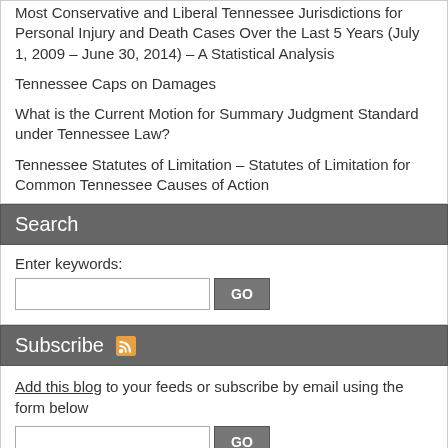Most Conservative and Liberal Tennessee Jurisdictions for Personal Injury and Death Cases Over the Last 5 Years (July 1, 2009 – June 30, 2014) – A Statistical Analysis
Tennessee Caps on Damages
What is the Current Motion for Summary Judgment Standard under Tennessee Law?
Tennessee Statutes of Limitation – Statutes of Limitation for Common Tennessee Causes of Action
Search
Enter keywords:
Subscribe
Add this blog to your feeds or subscribe by email using the form below
Topics
2012 Tennessee Legislation
2013 Tennessee Legislation